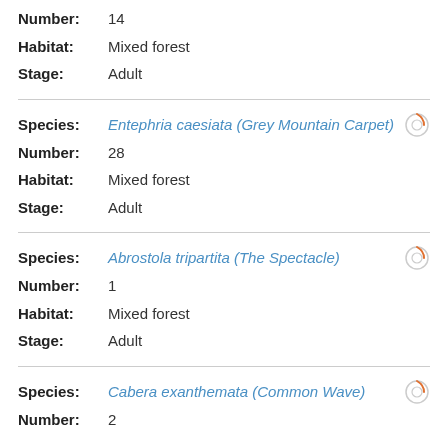Number: 14
Habitat: Mixed forest
Stage: Adult
Species: Entephria caesiata (Grey Mountain Carpet)
Number: 28
Habitat: Mixed forest
Stage: Adult
Species: Abrostola tripartita (The Spectacle)
Number: 1
Habitat: Mixed forest
Stage: Adult
Species: Cabera exanthemata (Common Wave)
Number: 2